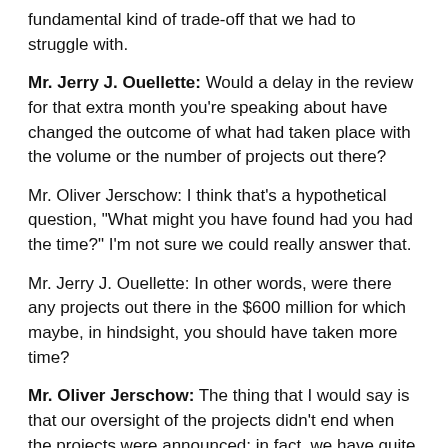fundamental kind of trade-off that we had to struggle with.
Mr. Jerry J. Ouellette: Would a delay in the review for that extra month you're speaking about have changed the outcome of what had taken place with the volume or the number of projects out there?
Mr. Oliver Jerschow: I think that's a hypothetical question, "What might you have found had you had the time?" I'm not sure we could really answer that.
Mr. Jerry J. Ouellette: In other words, were there any projects out there in the $600 million for which maybe, in hindsight, you should have taken more time?
Mr. Oliver Jerschow: The thing that I would say is that our oversight of the projects didn't end when the projects were announced; in fact, we have quite a bit of oversight, every day of every week, of these programs as they are delivered. Those contribution agreements are legal agreements that provide remedies for the province if we find that our funds